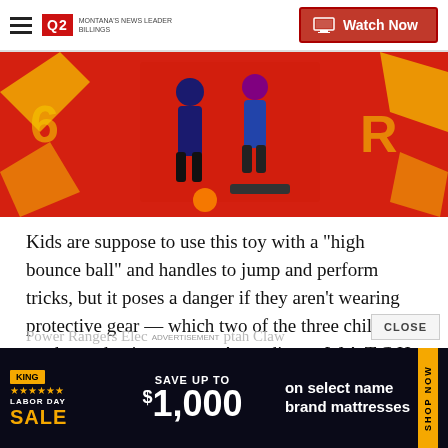Q2 MONTANA'S NEWS LEADER | Watch Now
[Figure (photo): Red product box for a toy with children jumping/performing tricks on the packaging, with yellow graphic elements on a red background.]
Kids are suppose to use this toy with a "high bounce ball" and handles to jump and perform tricks, but it poses a danger if they aren't wearing protective gear — which two of the three children on the packaging are not. According to W.A.T.C.H., the toy is hazardous for potential head and impact injuries.
Power Rangers Electro Cheetah Claw
[Figure (screenshot): Advertisement banner: KING mattress store Labor Day Sale — Save up to $1,000 on select name brand mattresses. SHOP NOW tab on right side.]